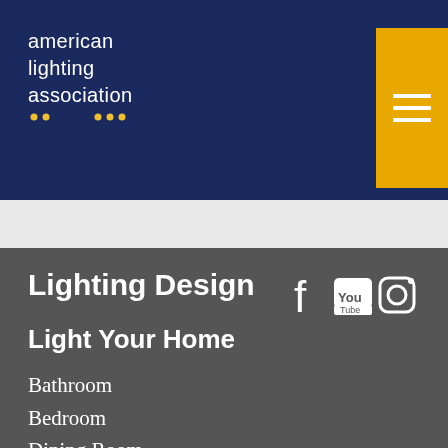[Figure (logo): American Lighting Association logo with white text on dark navy background and small yellow dots decoration]
[Figure (other): Yellow hamburger menu button with three white horizontal lines]
Lighting Design
[Figure (other): Social media icons: Facebook, YouTube, Instagram]
Light Your Home
Bathroom
Bedroom
Dining Room
Kitchen
Living Room
Office
Outdoor